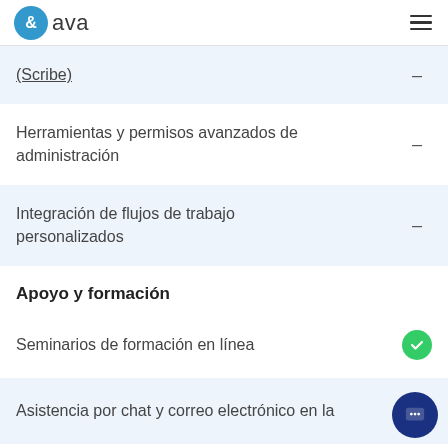&ava
(Scribe)
Herramientas y permisos avanzados de administración
Integración de flujos de trabajo personalizados
Apoyo y formación
Seminarios de formación en línea
Asistencia por chat y correo electrónico en la